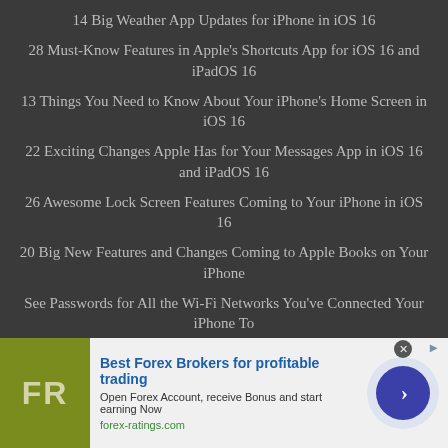14 Big Weather App Updates for iPhone in iOS 16
28 Must-Know Features in Apple's Shortcuts App for iOS 16 and iPadOS 16
13 Things You Need to Know About Your iPhone's Home Screen in iOS 16
22 Exciting Changes Apple Has for Your Messages App in iOS 16 and iPadOS 16
26 Awesome Lock Screen Features Coming to Your iPhone in iOS 16
20 Big New Features and Changes Coming to Apple Books on Your iPhone
See Passwords for All the Wi-Fi Networks You've Connected Your iPhone To
By using this site you acknowledge and agree to our terms of use & privacy policy.
[Figure (infographic): Advertisement banner for Best Forex Brokers for profitable trading. Shows FR logo in olive/yellow-green square, ad title in blue bold text, subtitle and URL, and a circular arrow button.]